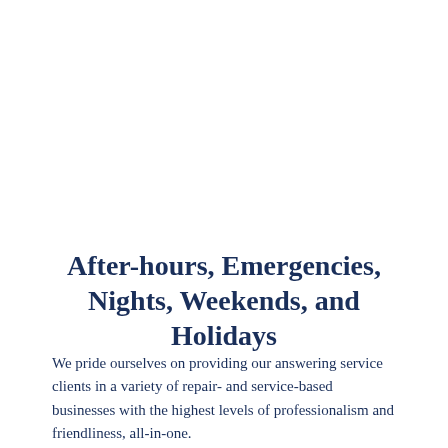After-hours, Emergencies, Nights, Weekends, and Holidays
We pride ourselves on providing our answering service clients in a variety of repair- and service-based businesses with the highest levels of professionalism and friendliness, all-in-one.